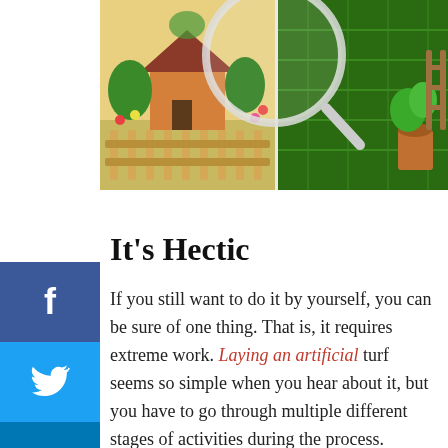[Figure (photo): Garden/lawn image with a magnifying glass overlay showing artificial turf on the right and a decorative garden scene with small house and fence on the left]
It’s Hectic
If you still want to do it by yourself, you can be sure of one thing. That is, it requires extreme work. Laying an artificial turf seems so simple when you hear about it, but you have to go through multiple different stages of activities during the process.
You can’t just drop the turf on the lawn or backyard; rather, you’d have to remove the